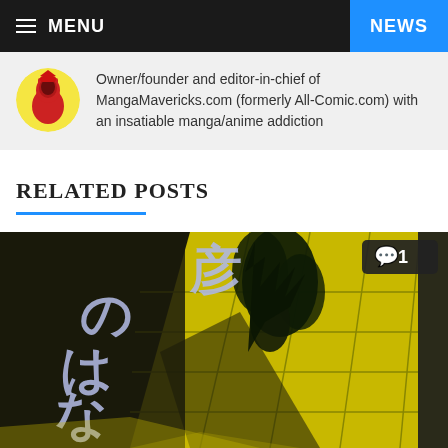MENU   NEWS
Owner/founder and editor-in-chief of MangaMavericks.com (formerly All-Comic.com) with an insatiable manga/anime addiction
RELATED POSTS
[Figure (illustration): Manga book cover image featuring Japanese text characters (彦 のはなし) on dark background with a bright yellow illuminated pathway/corridor and plant silhouette. A comment badge showing speech bubble icon and number 1 appears in the top-right corner.]